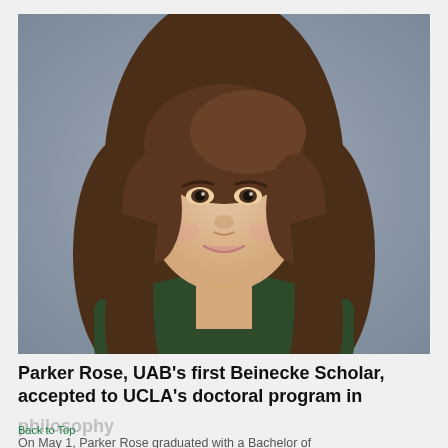[Figure (photo): Headshot portrait of Parker Rose, a young woman with long brown hair, wearing a dark olive/green turtleneck sweater, smiling slightly, against a gray gradient background.]
Parker Rose, UAB's first Beinecke Scholar, accepted to UCLA's doctoral program in philosophy
Back to Top
On May 1, Parker Rose graduated with a Bachelor of